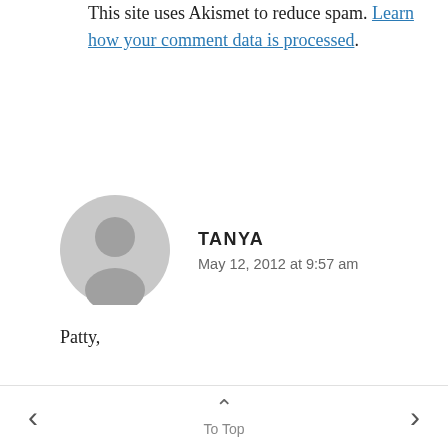This site uses Akismet to reduce spam. Learn how your comment data is processed.
TANYA
May 12, 2012 at 9:57 am
Patty,
I love your blog and the refreshing, healthy perspective it provides on marriage! Unfortunately, I could have used it 3 years ago in the midst of my failing marriage! I am now divorced, but in a very healthy and loving place
< To Top >